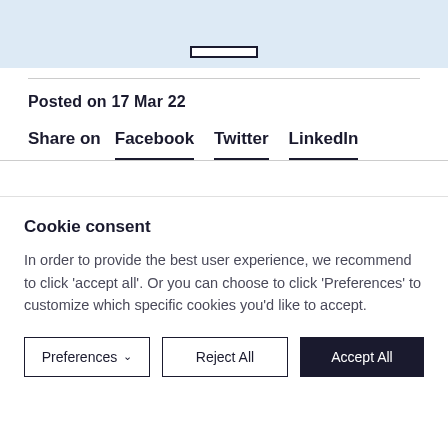[Figure (screenshot): Top blue banner with a button outline]
Posted on 17 Mar 22
Share on  Facebook  Twitter  LinkedIn
Cookie consent
In order to provide the best user experience, we recommend to click 'accept all'. Or you can choose to click 'Preferences' to customize which specific cookies you'd like to accept.
Preferences  ∨  |  Reject All  |  Accept All